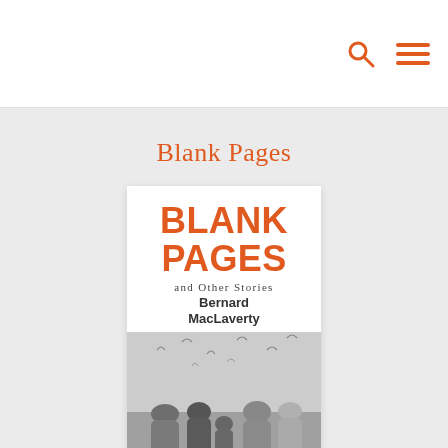Blank Pages
[Figure (photo): Book cover of 'Blank Pages and Other Stories' by Bernard MacLaverty. Large orange bold text 'BLANK PAGES' at top, subtitle 'and Other Stories' in grey serif, author name 'Bernard MacLaverty' in bold dark text, below which is a black-and-white photograph of several people seen from behind looking out at seagulls in a sky.]